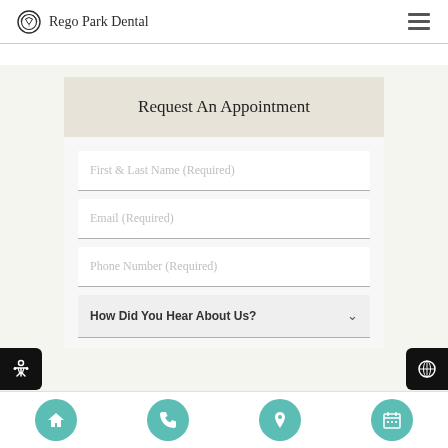Rego Park Dental
Request An Appointment
[Figure (screenshot): Web form with fields: First & Last Name (Required), Email (Required), Phone Number (Required), and a dropdown: How Did You Hear About Us?]
Navigation bar with home, phone, location, and calendar icons